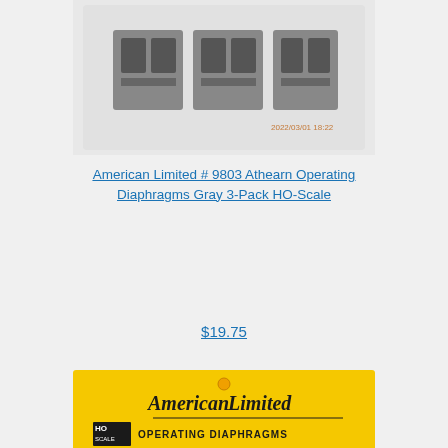[Figure (photo): Photo of model train diaphragm parts in plastic bag, timestamp 2022/03/01 18:22 visible in bottom right]
American Limited # 9803 Athearn Operating Diaphragms Gray 3-Pack HO-Scale
$19.75
[Figure (photo): Photo of American Limited HO Scale Operating Diaphragms product #9850 yellow packaging label reading ATHEARN GENESIS 'F' UNITS - GRAY, Genesis 'F' Unit A-B set]